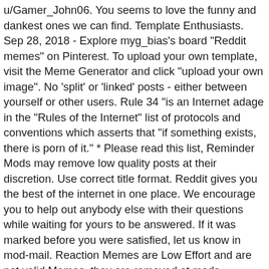u/Gamer_John06. You seems to love the funny and dankest ones we can find. Template Enthusiasts. Sep 28, 2018 - Explore myg_bias's board "Reddit memes" on Pinterest. To upload your own template, visit the Meme Generator and click "upload your own image". No 'split' or 'linked' posts - either between yourself or other users. Rule 34 "is an Internet adage in the "Rules of the Internet" list of protocols and conventions which asserts that "if something exists, there is porn of it." * Please read this list, Reminder Mods may remove low quality posts at their discretion. Use correct title format. Reddit gives you the best of the internet in one place. We encourage you to help out anybody else with their questions while waiting for yours to be answered. If it was marked before you were satisfied, let us know in mod-mail. Reaction Memes are Low Effort and are not valid Memes, they are removed at mods discretion . January 11th, 2021 10:30 PM. I hope you enjoy these. No titles as meme captions. Reddit gives you the best of the internet in one place. Thanks to the folks over on Reddit I can find us a good gallery to enjoy and laugh at. Breaking this rule may result in a permanent ban. With Tenor, maker of GIF Keyboard, add popular Meme Finder animated GIFs to your conversations. Created Apr 14, 2017. r/MemeTemplatesOfficial Rules. With Tenor, maker of GIF Keyboard, add popular Memes animated GIFs to your conversations. Blank templates of the most